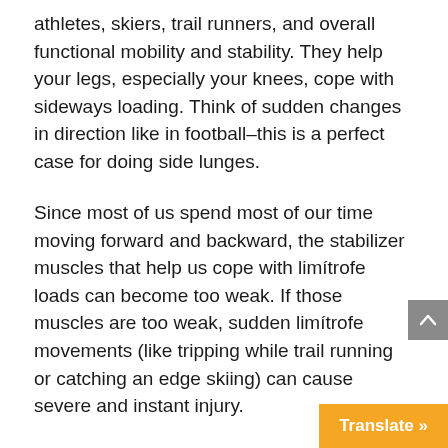athletes, skiers, trail runners, and overall functional mobility and stability. They help your legs, especially your knees, cope with sideways loading. Think of sudden changes in direction like in football–this is a perfect case for doing side lunges.
Since most of us spend most of our time moving forward and backward, the stabilizer muscles that help us cope with limitrofe loads can become too weak. If those muscles are too weak, sudden limitrofe movements (like tripping while trail running or catching an edge skiing) can cause severe and instant injury.
Ease into limitrofe lunges as they can leave you pretty sore if you're not used to them